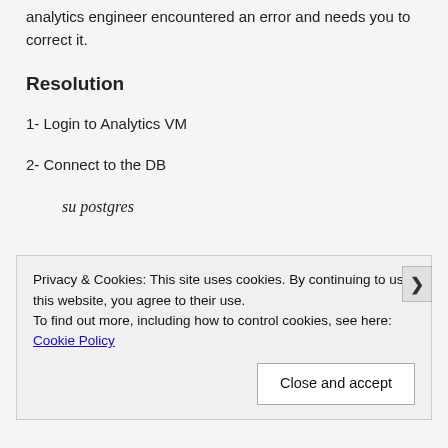analytics engineer encountered an error and needs you to correct it.
Resolution
1- Login to Analytics VM
2- Connect to the DB
su postgres
Privacy & Cookies: This site uses cookies. By continuing to use this website, you agree to their use.
To find out more, including how to control cookies, see here: Cookie Policy
Close and accept